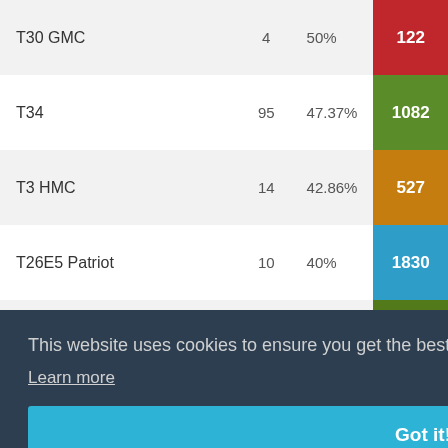| Tank | Battles | Win Rate | Avg XP |
| --- | --- | --- | --- |
| T30 GMC | 4 | 50% | 122 |
| T34 | 95 | 47.37% | 1082 |
| T3 HMC | 14 | 42.86% | 527 |
| T26E5 Patriot | 10 | 40% | 1830 |
| T26E5 | 2 | 50% | 1463 |
| T26E4 SuperPershing | 44 | 36.36% | 389 |
| T2 Light Tank | 24 | 58.33% | 799 |
| T-70 | 4 | 25% | 1356 |
This website uses cookies to ensure you get the best experience on our website.
Learn more
Got it!